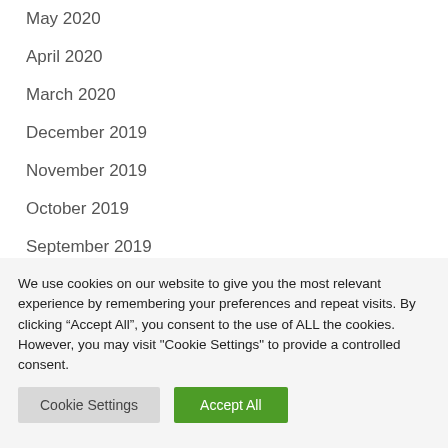May 2020
April 2020
March 2020
December 2019
November 2019
October 2019
September 2019
August 2019
We use cookies on our website to give you the most relevant experience by remembering your preferences and repeat visits. By clicking “Accept All”, you consent to the use of ALL the cookies. However, you may visit "Cookie Settings" to provide a controlled consent.
Cookie Settings | Accept All